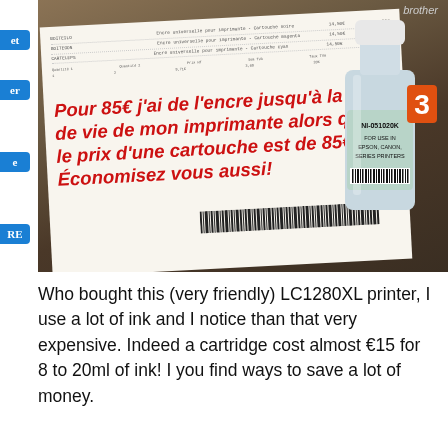[Figure (photo): Photo showing a hand holding a printed receipt in front of a Brother printer and an ink refill bottle. Text overlaid in red italic bold French: 'Pour 85€ j'ai de l'encre jusqu'à la fin de vie de mon imprimante alors que le prix d'une cartouche est de 85€. Économisez vous aussi!']
Who bought this (very friendly) LC1280XL printer, I use a lot of ink and I notice than that very expensive. Indeed a cartridge cost almost €15 for 8 to 20ml of ink! I you find ways to save a lot of money.